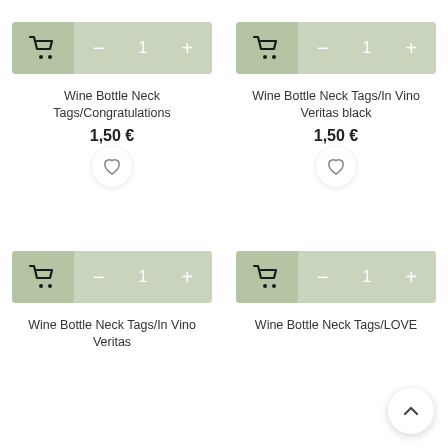[Figure (screenshot): Add to cart button with quantity selector showing cart icon, minus, 1, plus on green background]
Wine Bottle Neck Tags/Congratulations
1,50 €
[Figure (screenshot): Add to cart button with quantity selector showing cart icon, minus, 1, plus on green background]
Wine Bottle Neck Tags/In Vino Veritas black
1,50 €
[Figure (screenshot): Add to cart button with quantity selector for third product]
Wine Bottle Neck Tags/In Vino Veritas
[Figure (screenshot): Add to cart button with quantity selector for fourth product]
Wine Bottle Neck Tags/LOVE